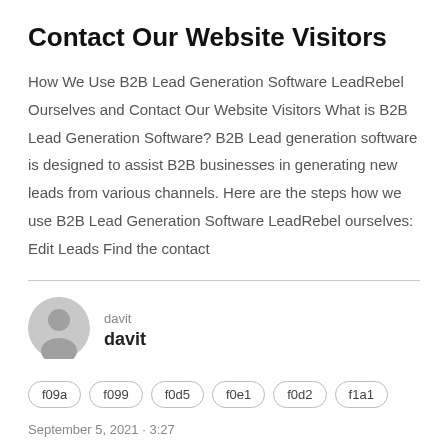Contact Our Website Visitors
How We Use B2B Lead Generation Software LeadRebel Ourselves and Contact Our Website Visitors What is B2B Lead Generation Software? B2B Lead generation software is designed to assist B2B businesses in generating new leads from various channels. Here are the steps how we use B2B Lead Generation Software LeadRebel ourselves: Edit Leads Find the contact
[Figure (illustration): Circular grey avatar icon with silhouette of a person]
davit
davit
f09a  f099  f0d5  f0e1  f0d2  f1a1
September 5, 2021 · 3:27